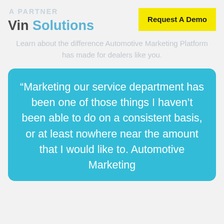[Figure (logo): VinSolutions logo with 'A PARTNER' text above in light gray]
Request A Demo
Learn about the difference Automotive Marketing Platform has made for dealers like you.
“Marketing our service department has been one of those things I haven’t been able to do on a consistent basis, or at least nowhere near the amount that I would like to. Automotive Marketing